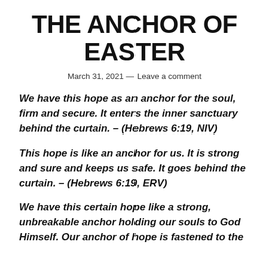THE ANCHOR OF EASTER
March 31, 2021 — Leave a comment
We have this hope as an anchor for the soul, firm and secure. It enters the inner sanctuary behind the curtain. – (Hebrews 6:19, NIV)
This hope is like an anchor for us. It is strong and sure and keeps us safe. It goes behind the curtain. – (Hebrews 6:19, ERV)
We have this certain hope like a strong, unbreakable anchor holding our souls to God Himself. Our anchor of hope is fastened to the